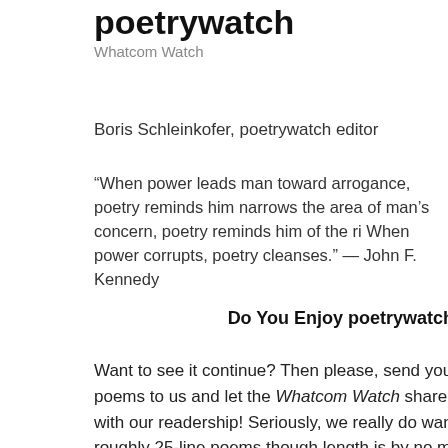poetrywatch
Whatcom Watch
Boris Schleinkofer, poetrywatch editor
“When power leads man toward arrogance, poetry reminds him narrows the area of man’s concern, poetry reminds him of the ri When power corrupts, poetry cleanses.” — John F. Kennedy
Do You Enjoy poetrywatch
Want to see it continue? Then please, send your poems to us and let the Whatcom Watch share them with our readership! Seriously, we really do want your roughly 25-line poems though length is by no means a deal-breaker; it’s how you use those lines. Featuring or specific to Whatcom County and issues addressed by Whatcom Watch such as